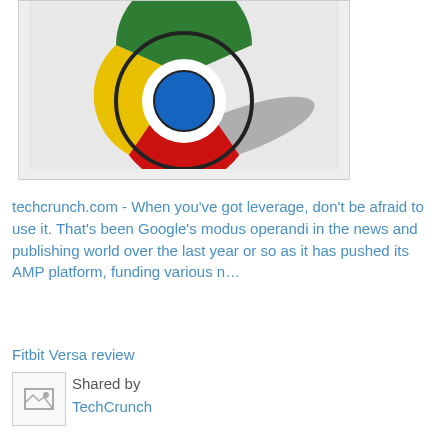[Figure (photo): Google Chrome logo pin/badge with red, yellow, green and blue sections, casting a shadow on white background]
techcrunch.com - When you've got leverage, don't be afraid to use it. That's been Google's modus operandi in the news and publishing world over the last year or so as it has pushed its AMP platform, funding various n...
Fitbit Versa review
[Figure (other): Small thumbnail image placeholder]
Shared by TechCrunch